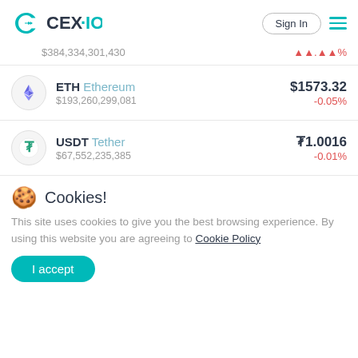[Figure (logo): CEX.IO logo with teal geometric icon and CEX·IO wordmark]
Sign In
$384,334,301,430  ▲▲.▲▲%
| Coin | Name | Market Cap | Price | Change |
| --- | --- | --- | --- | --- |
| ETH | Ethereum | $193,260,299,081 | $1573.32 | -0.05% |
| USDT | Tether | $67,552,235,385 | ₮1.0016 | -0.01% |
Cookies!
This site uses cookies to give you the best browsing experience. By using this website you are agreeing to Cookie Policy
I accept